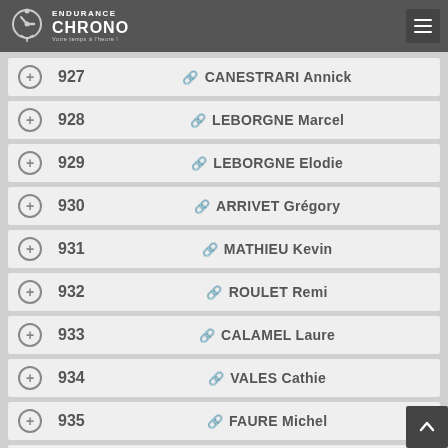Endurance Chrono
927 CANESTRARI Annick
928 LEBORGNE Marcel
929 LEBORGNE Elodie
930 ARRIVET Grégory
931 MATHIEU Kevin
932 ROULET Remi
933 CALAMEL Laure
934 VALES Cathie
935 FAURE Michel
936 JAMMES Olivier